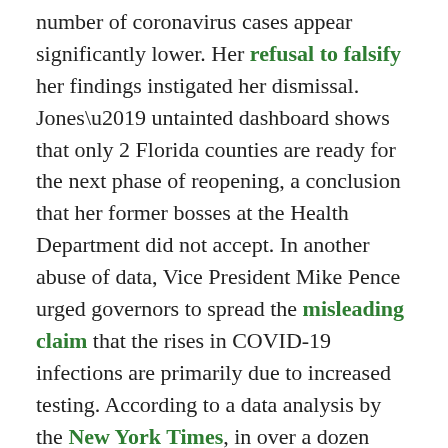number of coronavirus cases appear significantly lower. Her refusal to falsify her findings instigated her dismissal. Jones' untainted dashboard shows that only 2 Florida counties are ready for the next phase of reopening, a conclusion that her former bosses at the Health Department did not accept. In another abuse of data, Vice President Mike Pence urged governors to spread the misleading claim that the rises in COVID-19 infections are primarily due to increased testing. According to a data analysis by the New York Times, in over a dozen states, the rates of positive cases are outpacing the increase in the average number of tests. Pence also characterized these surges in cases as “marginal.” Data from the CDC show a decrease in coronavirus hospitalizations nationally, but an increase in positive cases, and the number of coronavirus-related deaths could increase as more data are collected.